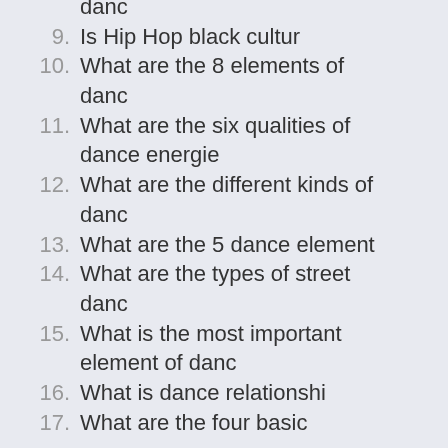danc
9. Is Hip Hop black cultur
10. What are the 8 elements of danc
11. What are the six qualities of dance energie
12. What are the different kinds of danc
13. What are the 5 dance element
14. What are the types of street danc
15. What is the most important element of danc
16. What is dance relationshi
17. What are the four basic